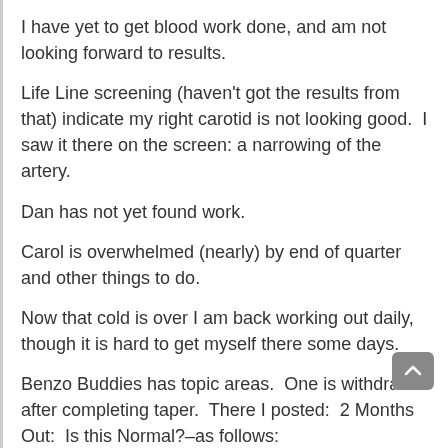I have yet to get blood work done, and am not looking forward to results.
Life Line screening (haven't got the results from that) indicate my right carotid is not looking good.  I saw it there on the screen: a narrowing of the artery.
Dan has not yet found work.
Carol is overwhelmed (nearly) by end of quarter and other things to do.
Now that cold is over I am back working out daily, though it is hard to get myself there some days.
Benzo Buddies has topic areas.  One is withdrawal after completing taper.  There I posted:  2 Months Out:  Is this Normal?–as follows:
I have not taken any benzo since December 12 of this